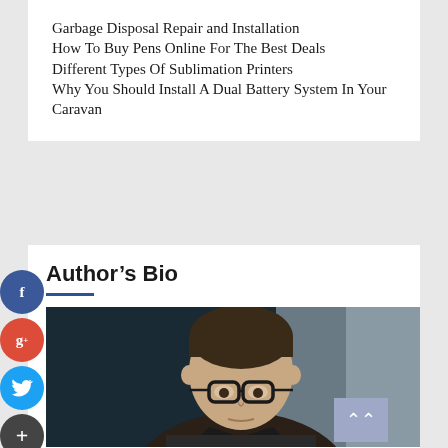Garbage Disposal Repair and Installation
How To Buy Pens Online For The Best Deals
Different Types Of Sublimation Printers
Why You Should Install A Dual Battery System In Your Caravan
Author's Bio
[Figure (photo): Black and white close-up photo of a man with glasses and short hair, looking downward, in a dark setting]